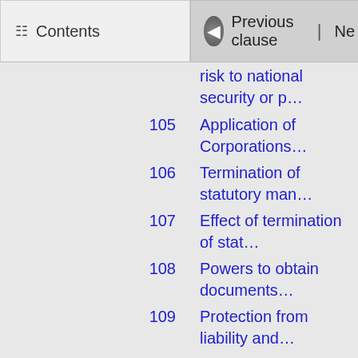Contents | Previous clause | Ne…
risk to national security or p…
105   Application of Corporations…
106   Termination of statutory man…
107   Effect of termination of stat…
108   Powers to obtain documents…
109   Protection from liability and…
110   Expenses of statutory manag…
111   Modifications where person… Bank
Risk management o…
112   When risk management actio… transactions of national inter…
Subpart 3—
113   Application of subpart
114   Classified security informati…
115   Obligation to provide cour…